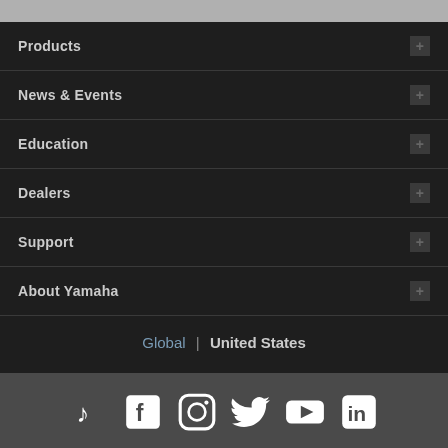Products
News & Events
Education
Dealers
Support
About Yamaha
Global | United States
[Figure (other): Social media icons row: TikTok, Facebook, Instagram, Twitter, YouTube, LinkedIn]
Contact Us   Terms of Use